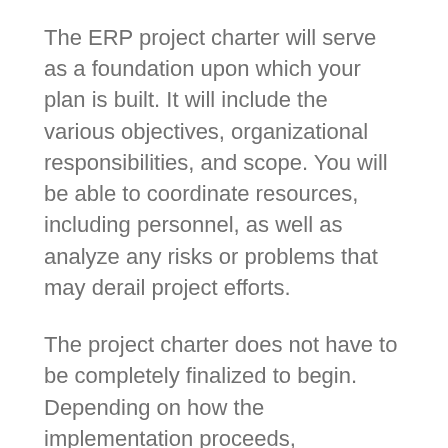The ERP project charter will serve as a foundation upon which your plan is built. It will include the various objectives, organizational responsibilities, and scope. You will be able to coordinate resources, including personnel, as well as analyze any risks or problems that may derail project efforts.
The project charter does not have to be completely finalized to begin. Depending on how the implementation proceeds, adjustments may be required. The purpose is to organize the key points from the beginning as it helps secure buy off from the necessary higher-ups and gets everyone on the same page.
It also helps identify key stakeholders in